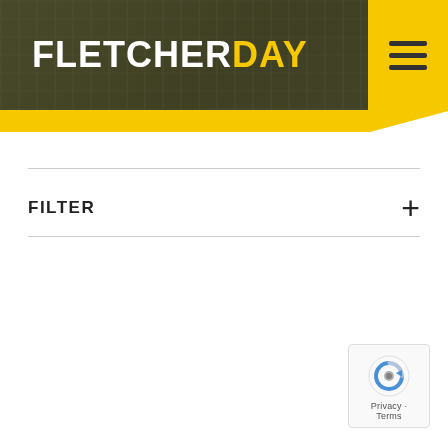[Figure (logo): FletcherDay logo on dark olive/brown background with building grid pattern. FLETCHER in white bold, DAY in yellow bold. Hamburger menu icon in dark on yellow panel to the right. Yellow bar runs across the bottom of the header.]
FILTER
[Figure (other): reCAPTCHA badge with Google reCAPTCHA logo (blue/grey arrow circle icon) and 'Privacy - Terms' text below.]